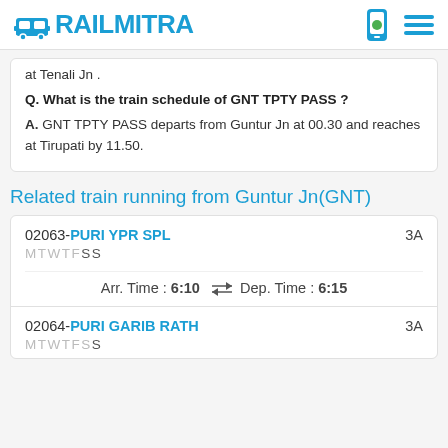RAILMITRA
at Tenali Jn .
Q. What is the train schedule of GNT TPTY PASS ? A. GNT TPTY PASS departs from Guntur Jn at 00.30 and reaches at Tirupati by 11.50.
Related train running from Guntur Jn(GNT)
02063-PURI YPR SPL MTWTFSS 3A Arr. Time : 6:10 Dep. Time : 6:15
02064-PURI GARIB RATH MTWTFSS 3A